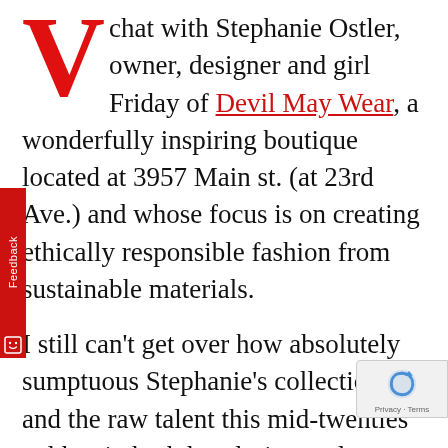V chat with Stephanie Ostler, owner, designer and girl Friday of Devil May Wear, a wonderfully inspiring boutique located at 3957 Main st. (at 23rd Ave.) and whose focus is on creating ethically responsible fashion from sustainable materials. I still can't get over how absolutely sumptuous Stephanie's collection is – and the raw talent this mid-twenties gal has in both her design and technical skills. Ninety percent of the items in her store are handmade by Stephanie herself – from a fun collection of brightly coloured undies to